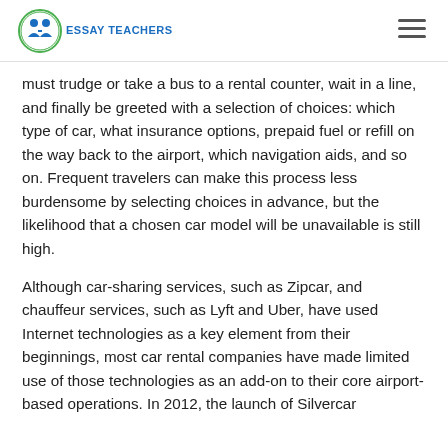Essay Teachers
must trudge or take a bus to a rental counter, wait in a line, and finally be greeted with a selection of choices: which type of car, what insurance options, prepaid fuel or refill on the way back to the airport, which navigation aids, and so on. Frequent travelers can make this process less burdensome by selecting choices in advance, but the likelihood that a chosen car model will be unavailable is still high.
Although car-sharing services, such as Zipcar, and chauffeur services, such as Lyft and Uber, have used Internet technologies as a key element from their beginnings, most car rental companies have made limited use of those technologies as an add-on to their core airport-based operations. In 2012, the launch of Silvercar